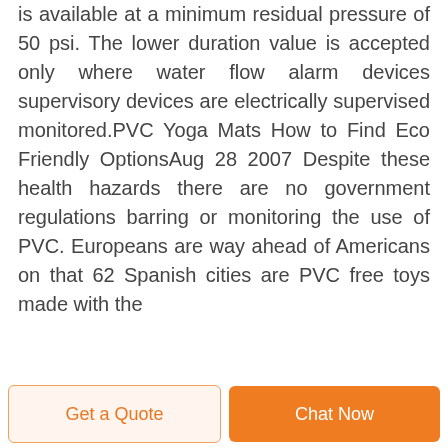is available at a minimum residual pressure of 50 psi. The lower duration value is accepted only where water flow alarm devices supervisory devices are electrically supervised monitored.PVC Yoga Mats How to Find Eco Friendly OptionsAug 28 2007 Despite these health hazards there are no government regulations barring or monitoring the use of PVC. Europeans are way ahead of Americans on that 62 Spanish cities are PVC free toys made with the
Get a Quote  Chat Now